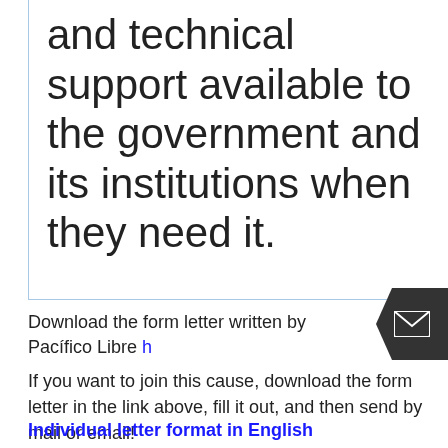and technical support available to the government and its institutions when they need it.
Download the form letter written by Pacífico Libre
If you want to join this cause, download the form letter in the link above, fill it out, and then send by mail or email!
Individual letter format in English